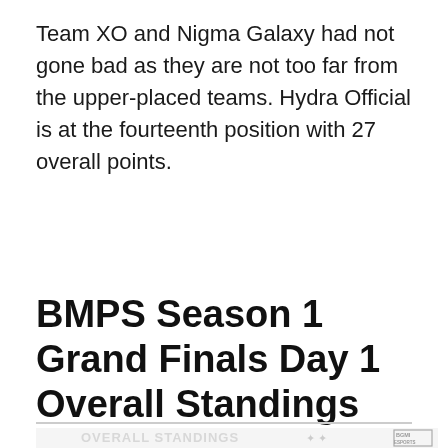Team XO and Nigma Galaxy had not gone bad as they are not too far from the upper-placed teams. Hydra Official is at the fourteenth position with 27 overall points.
BMPS Season 1 Grand Finals Day 1 Overall Standings
[Figure (screenshot): Screenshot of BMPS Season 1 Grand Finals Day 1 Overall Standings table, partially visible with watermark-style text and player silhouettes. BGMI Esports logo visible in top right corner.]